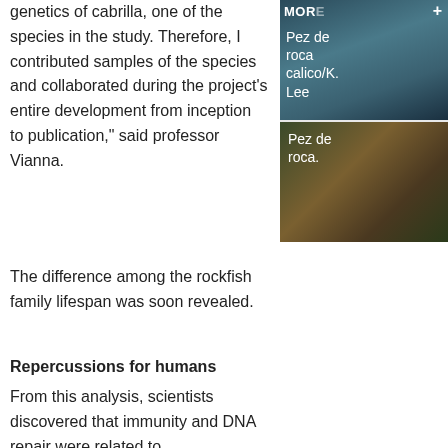genetics of cabrilla, one of the species in the study. Therefore, I contributed samples of the species and collaborated during the project's entire development from inception to publication," said professor Vianna.
[Figure (photo): Sidebar panel with label 'Pez de roca calico/K. Lee' on dark blue-gray background]
[Figure (photo): Photo of rockfish (Pez de roca) with label overlay on brownish-green background]
The difference among the rockfish family lifespan was soon revealed.
Repercussions for humans
From this analysis, scientists discovered that immunity and DNA repair were related to